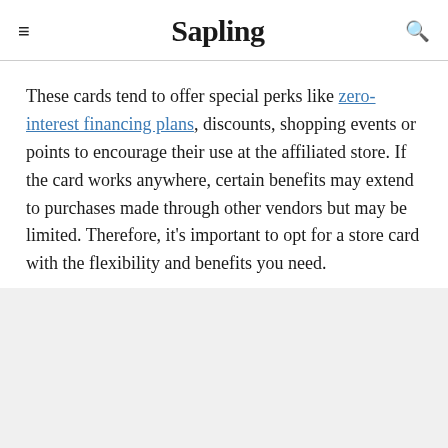≡  Sapling  🔍
These cards tend to offer special perks like zero-interest financing plans, discounts, shopping events or points to encourage their use at the affiliated store. If the card works anywhere, certain benefits may extend to purchases made through other vendors but may be limited. Therefore, it's important to opt for a store card with the flexibility and benefits you need.
Advertisement